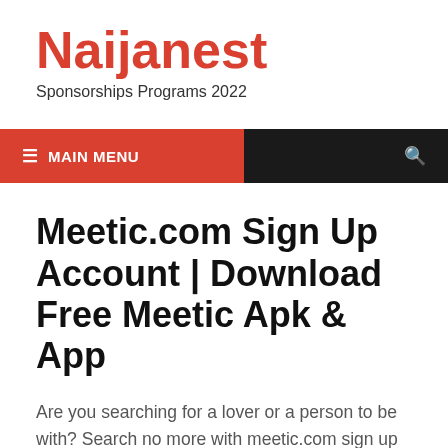Naijanest
Sponsorships Programs 2022
≡ MAIN MENU
Meetic.com Sign Up Account | Download Free Meetic Apk & App
Are you searching for a lover or a person to be with? Search no more with meetic.com sign up an account you can be with anyone of your choice from any parts of the world.